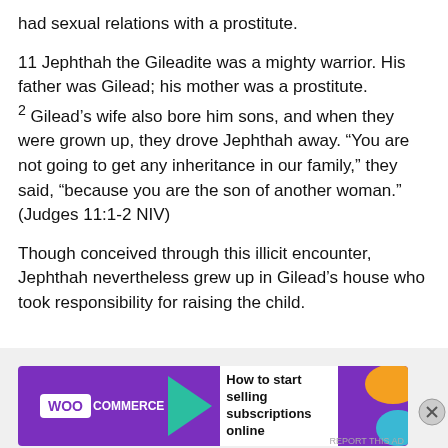had sexual relations with a prostitute.
11 Jephthah the Gileadite was a mighty warrior. His father was Gilead; his mother was a prostitute. 2 Gilead’s wife also bore him sons, and when they were grown up, they drove Jephthah away. “You are not going to get any inheritance in our family,” they said, “because you are the son of another woman.” (Judges 11:1-2 NIV)
Though conceived through this illicit encounter, Jephthah nevertheless grew up in Gilead’s house who took responsibility for raising the child.
[Figure (other): WooCommerce advertisement banner: 'How to start selling subscriptions online']